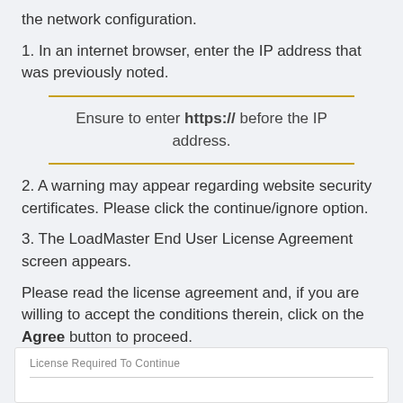the network configuration.
1. In an internet browser, enter the IP address that was previously noted.
Ensure to enter https:// before the IP address.
2. A warning may appear regarding website security certificates. Please click the continue/ignore option.
3. The LoadMaster End User License Agreement screen appears.
Please read the license agreement and, if you are willing to accept the conditions therein, click on the Agree button to proceed.
[Figure (screenshot): Screenshot box showing 'License Required To Continue' label with a line underneath]